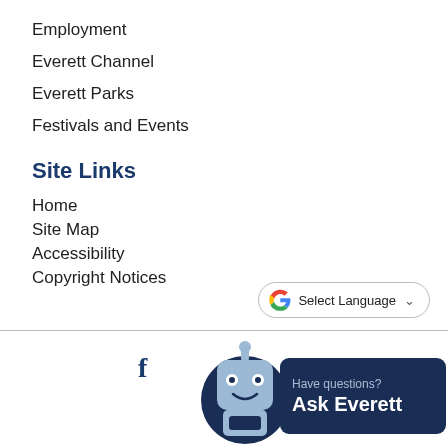Employment
Everett Channel
Everett Parks
Festivals and Events
Site Links
Home
Site Map
Accessibility
Copyright Notices
[Figure (screenshot): Google Translate widget button with 'Select Language' text and dropdown chevron]
[Figure (infographic): Ask Everett chatbot widget with robot icon and dark navy background reading 'Have questions? Ask Everett']
Government